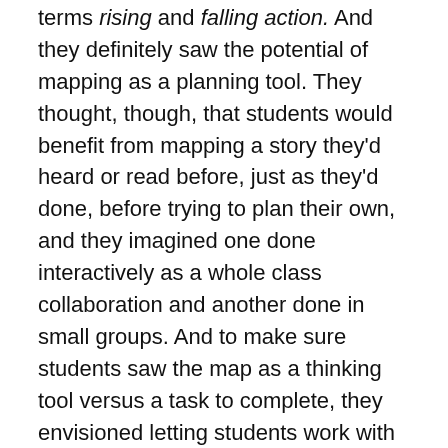terms rising and falling action. And they definitely saw the potential of mapping as a planning tool. They thought, though, that students would benefit from mapping a story they'd heard or read before, just as they'd done, before trying to plan their own, and they imagined one done interactively as a whole class collaboration and another done in small groups. And to make sure students saw the map as a thinking tool versus a task to complete, they envisioned letting students work with a buddy, with some questions they could collaborative wrestle with, such as:
Where, on the line between bad and good fortune (or a sad and happy faces) might my story begin?
If my character begins on a high note, do I want something to happen to indicate a possible problem or trouble? What could that be?
How many setbacks do I want my character to have